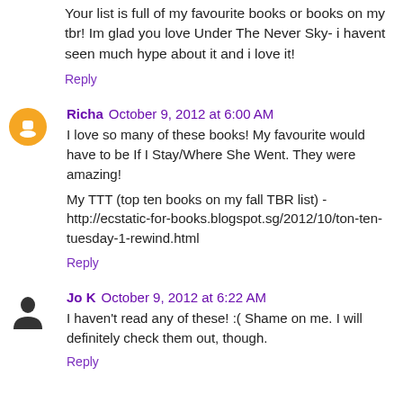Your list is full of my favourite books or books on my tbr! Im glad you love Under The Never Sky- i havent seen much hype about it and i love it!
Reply
Richa  October 9, 2012 at 6:00 AM
I love so many of these books! My favourite would have to be If I Stay/Where She Went. They were amazing!
My TTT (top ten books on my fall TBR list) - http://ecstatic-for-books.blogspot.sg/2012/10/ton-ten-tuesday-1-rewind.html
Reply
Jo K  October 9, 2012 at 6:22 AM
I haven't read any of these! :( Shame on me. I will definitely check them out, though.
Reply